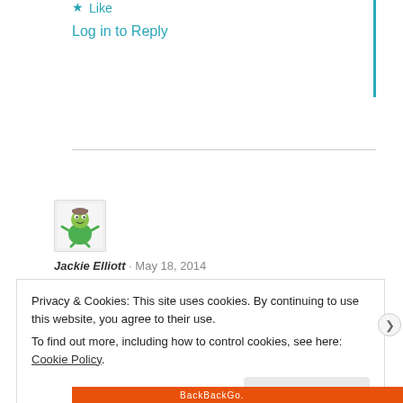★ Like
Log in to Reply
[Figure (illustration): Green cartoon character avatar for Jackie Elliott]
Jackie Elliott · May 18, 2014
Privacy & Cookies: This site uses cookies. By continuing to use this website, you agree to their use.
To find out more, including how to control cookies, see here: Cookie Policy
Close and accept